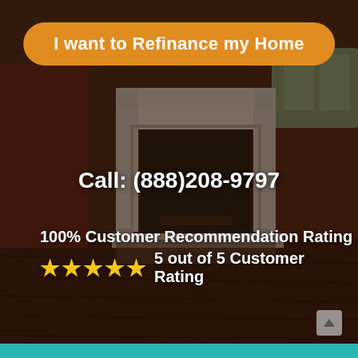[Figure (photo): Background photo of a home interior room with a white fireplace mantel, hardwood floors, red walls, and a window. The image has a dark semi-transparent overlay.]
I want to Refinance my Home
Call: (888)208-9797
100% Customer Recommendation Rating
★★★★★  5 out of 5 Customer Rating